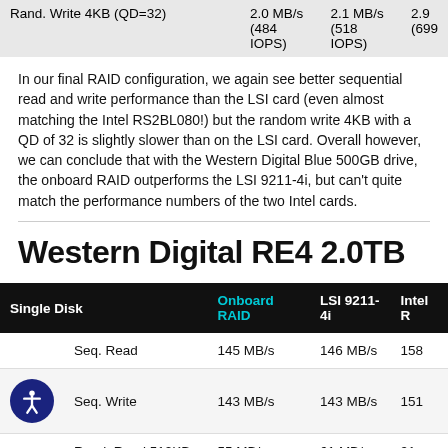|  |  |  |  |
| --- | --- | --- | --- |
| Rand. Write 4KB (QD=32) | 2.0 MB/s
(484 IOPS) | 2.1 MB/s
(518 IOPS) | 2.9
(699 |
In our final RAID configuration, we again see better sequential read and write performance than the LSI card (even almost matching the Intel RS2BL080!) but the random write 4KB with a QD of 32 is slightly slower than on the LSI card. Overall however, we can conclude that with the Western Digital Blue 500GB drive, the onboard RAID outperforms the LSI 9211-4i, but can't quite match the performance numbers of the two Intel cards.
Western Digital RE4 2.0TB
| Single Disk |  | Onboard RAID | LSI 9211-4i | Intel R |
| --- | --- | --- | --- | --- |
|  | Seq. Read | 145 MB/s | 146 MB/s | 158 |
|  | Seq. Write | 143 MB/s | 143 MB/s | 151 |
|  | Rand. Read 512KB | 55 MB/s | 61 MB/s | 91 |